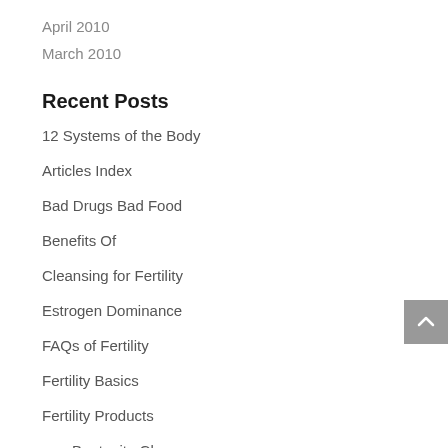April 2010
March 2010
Recent Posts
12 Systems of the Body
Articles Index
Bad Drugs Bad Food
Benefits Of
Cleansing for Fertility
Estrogen Dominance
FAQs of Fertility
Fertility Basics
Fertility Products
Bentonite Clay
Fertility Aids